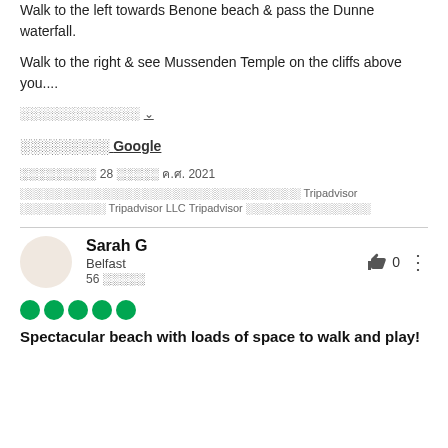Walk to the left towards Benone beach & pass the Dunne waterfall.
Walk to the right & see Mussenden Temple on the cliffs above you....
░░░░░░░░░░░░░ ∨
░░░░░░░░░ Google
░░░░░░░░░ 28 ░░░░░ ค.ศ. 2021
░░░░░░░░░░░░░░░░░░░░░░░░░░░░░░░░░░░░ Tripadvisor ░░░░░░░░░░░ Tripadvisor LLC Tripadvisor ░░░░░░░░░░░░░░░░
Sarah G — Belfast — 56 ░░░░░
Spectacular beach with loads of space to walk and play!